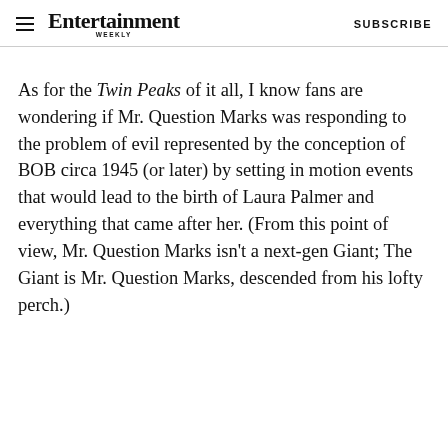Entertainment Weekly — SUBSCRIBE
As for the Twin Peaks of it all, I know fans are wondering if Mr. Question Marks was responding to the problem of evil represented by the conception of BOB circa 1945 (or later) by setting in motion events that would lead to the birth of Laura Palmer and everything that came after her. (From this point of view, Mr. Question Marks isn't a next-gen Giant; The Giant is Mr. Question Marks, descended from his lofty perch.)